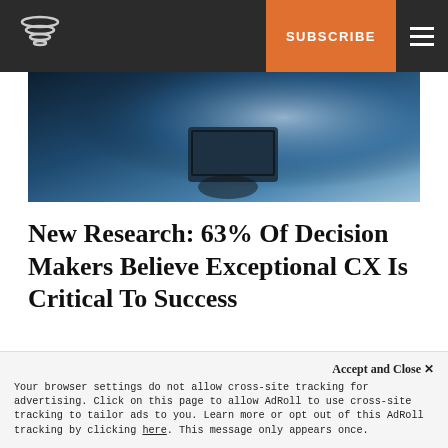SUBSCRIBE ≡
[Figure (photo): Person in dark clothing holding a tablet device, blue-toned background]
New Research: 63% Of Decision Makers Believe Exceptional CX Is Critical To Success
January 26, 2021
Published in News Briefs
Accept and Close ✕ Your browser settings do not allow cross-site tracking for advertising. Click on this page to allow AdRoll to use cross-site tracking to tailor ads to you. Learn more or opt out of this AdRoll tracking by clicking here. This message only appears once.